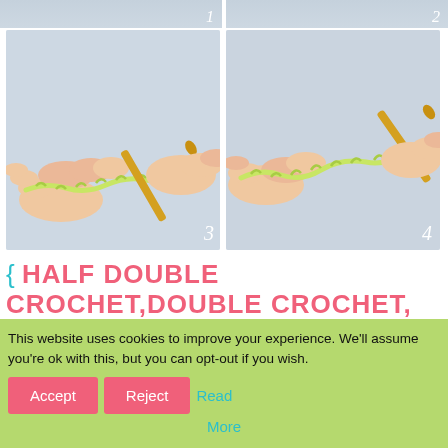[Figure (photo): Partially visible top strip of two tutorial step photos (steps 1 and 2) showing hands holding crochet hook and green yarn.]
[Figure (photo): Step 3: Hands holding a gold crochet hook and light green yarn forming a foundation chain, light grey background. Number '3' in white italic in lower right corner.]
[Figure (photo): Step 4: Hands holding a gold crochet hook and light green yarn chain, slight angle, light grey background. Number '4' in white italic in lower right corner.]
{ HALF DOUBLE CROCHET,DOUBLE CROCHET, TREBLES... }
These stitches belong to the same group of “high stitches” : at the beginning of a row, you’llhave to chain a few stitches
This website uses cookies to improve your experience. We'll assume you're ok with this, but you can opt-out if you wish. Accept Reject Read More